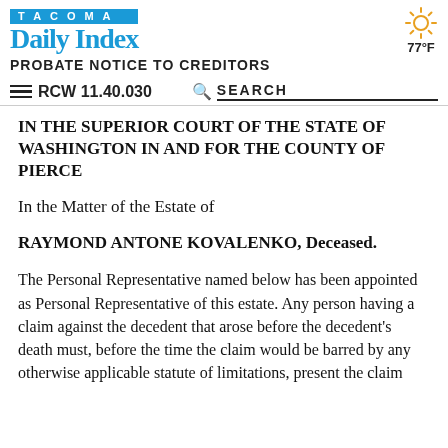TACOMA Daily Index
PROBATE NOTICE TO CREDITORS
RCW 11.40.030
IN THE SUPERIOR COURT OF THE STATE OF WASHINGTON IN AND FOR THE COUNTY OF PIERCE
In the Matter of the Estate of
RAYMOND ANTONE KOVALENKO, Deceased.
The Personal Representative named below has been appointed as Personal Representative of this estate. Any person having a claim against the decedent that arose before the decedent's death must, before the time the claim would be barred by any otherwise applicable statute of limitations, present the claim